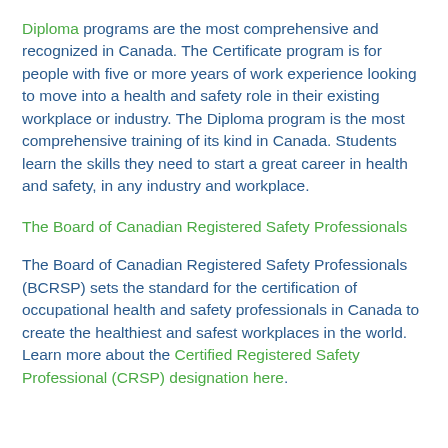Diploma programs are the most comprehensive and recognized in Canada. The Certificate program is for people with five or more years of work experience looking to move into a health and safety role in their existing workplace or industry. The Diploma program is the most comprehensive training of its kind in Canada. Students learn the skills they need to start a great career in health and safety, in any industry and workplace.
The Board of Canadian Registered Safety Professionals
The Board of Canadian Registered Safety Professionals (BCRSP) sets the standard for the certification of occupational health and safety professionals in Canada to create the healthiest and safest workplaces in the world. Learn more about the Certified Registered Safety Professional (CRSP) designation here.